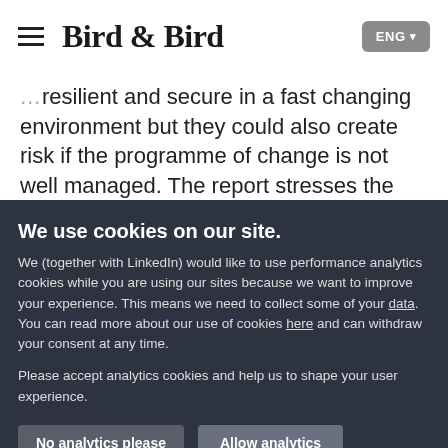Bird & Bird | ENG
resilient and secure in a fast changing environment but they could also create risk if the programme of change is not well managed. The report stresses the importance of the payment system operator ensuring a robust approach to the migration to new infrastructure that minimises risk of discontinuity or degradation in service
We use cookies on our site.
We (together with LinkedIn) would like to use performance analytics cookies while you are using our sites because we want to improve your experience. This means we need to collect some of your data. You can read more about our use of cookies here and can withdraw your consent at any time.
Please accept analytics cookies and help us to shape your user experience.
No analytics please | Allow analytics